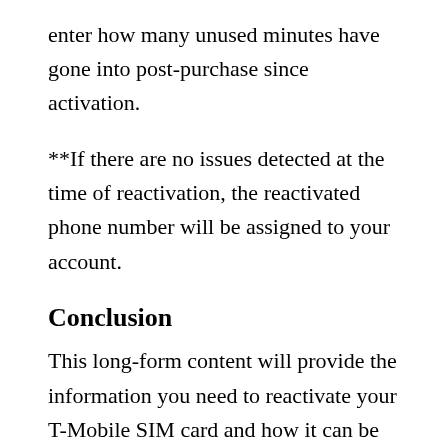enter how many unused minutes have gone into post-purchase since activation.
**If there are no issues detected at the time of reactivation, the reactivated phone number will be assigned to your account.
Conclusion
This long-form content will provide the information you need to reactivate your T-Mobile SIM card and how it can be done. They also include eight ways on how to do so, including the ability for a customer to reactivate their t mobile sim without having